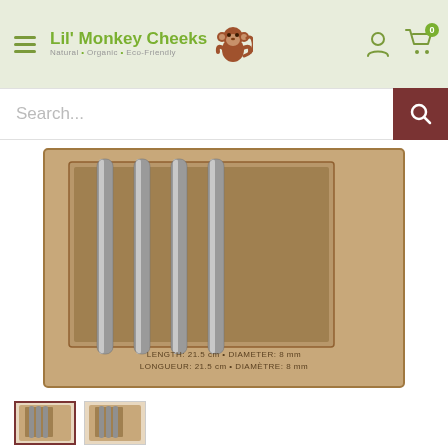Lil' Monkey Cheeks — Natural • Organic • Eco-Friendly
Search...
[Figure (photo): A kraft cardboard box containing 4 stainless steel straws displayed upright. The box shows text: LENGTH: 21.5 cm • DIAMETER: 8 mm / LONGUEUR: 21.5 cm • DIAMÈTRE: 8 mm]
[Figure (photo): Thumbnail 1 - selected: kraft box with stainless steel straws, front view]
[Figure (photo): Thumbnail 2: kraft box with stainless steel straws, alternate view]